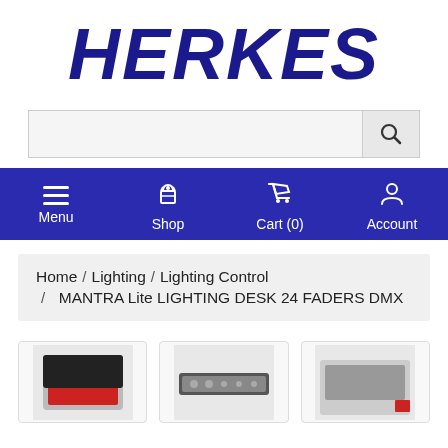[Figure (logo): HERKES logo in dark blue bold italic text]
[Figure (screenshot): Search bar with magnifying glass icon on right]
[Figure (screenshot): Navigation bar with Menu, Shop, Cart (0), Account icons on dark blue background]
Home / Lighting / Lighting Control / MANTRA Lite LIGHTING DESK 24 FADERS DMX
[Figure (screenshot): Three product thumbnail images partially visible at bottom of page]